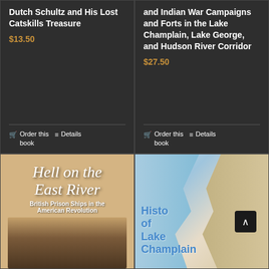Dutch Schultz and His Lost Catskills Treasure
$13.50
Order this book
Details
and Indian War Campaigns and Forts in the Lake Champlain, Lake George, and Hudson River Corridor
$27.50
Order this book
Details
[Figure (photo): Book cover: Hell on the East River - British Prison Ships in the American Revolution, tan/brown cover with cursive script title]
[Figure (photo): Book cover: History of Lake Champlain, showing a historical map with water and land features in blue and tan]